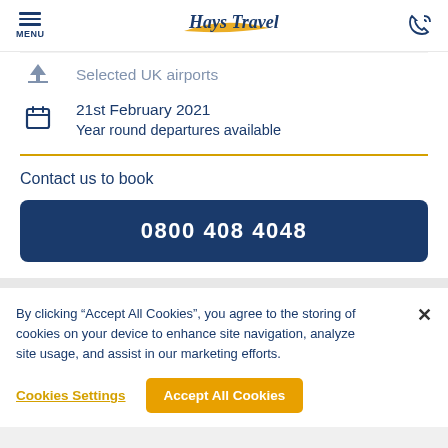MENU | Hays Travel
Selected UK airports
21st February 2021
Year round departures available
Contact us to book
0800 408 4048
By clicking “Accept All Cookies”, you agree to the storing of cookies on your device to enhance site navigation, analyze site usage, and assist in our marketing efforts.
Cookies Settings
Accept All Cookies